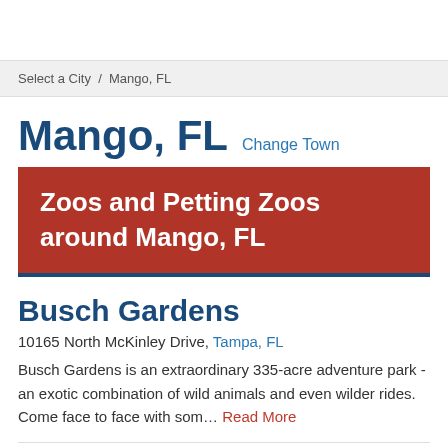Select a City / Mango, FL
Mango, FL Change Town
Zoos and Petting Zoos around Mango, FL
Busch Gardens
10165 North McKinley Drive, Tampa, FL
Busch Gardens is an extraordinary 335-acre adventure park - an exotic combination of wild animals and even wilder rides. Come face to face with som… Read More